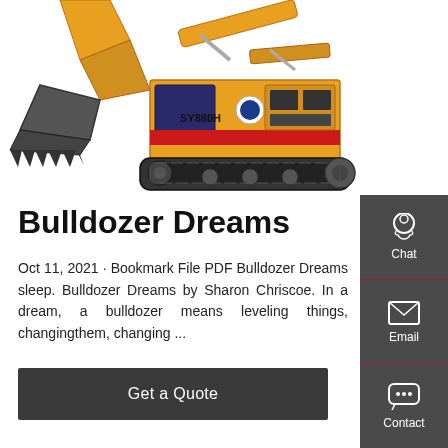[Figure (photo): Construction excavator (SY880H) in yellow/orange color shown from the side, with bucket arm visible on the left and the main body with tracks on the right. White background.]
Bulldozer Dreams
Oct 11, 2021 · Bookmark File PDF Bulldozer Dreams sleep. Bulldozer Dreams by Sharon Chriscoe. In a dream, a bulldozer means leveling things, changingthem, changing ...
[Figure (infographic): Dark gray sidebar with three items: Chat (headset icon), Email (envelope icon), Contact (speech bubble icon). Separated by red dividers.]
Get a Quote